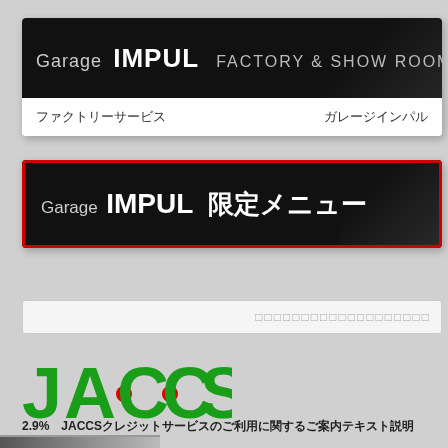[Figure (screenshot): Garage IMPUL FACTORY & SHOW ROOM banner on black background]
ファクトリーサービス　　　　　　　　　　ガレージインパル
[Figure (screenshot): Garage IMPUL 限定メニュー banner on black background with red border]
（search bar with Japanese placeholder text）
[Figure (logo): JACCS logo in green with red dots]
2.9%　JACCS（クレジット利用に関する説明テキスト）